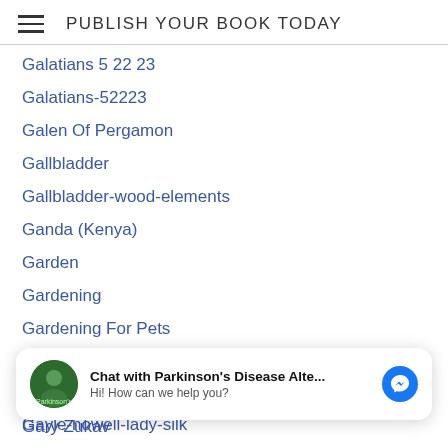PUBLISH YOUR BOOK TODAY
Galatians 5 22 23
Galatians-52223
Galen Of Pergamon
Gallbladder
Gallbladder-wood-elements
Ganda (Kenya)
Garden
Gardening
Gardening For Pets
Gary Glazner
Gary Malkin
Gary Zukav
G. Augustine Dahn
[Figure (screenshot): Chat popup: Chat with Parkinson's Disease Alte... Hi! How can we help you? with Messenger icon]
Gayle-howell-lady-silk